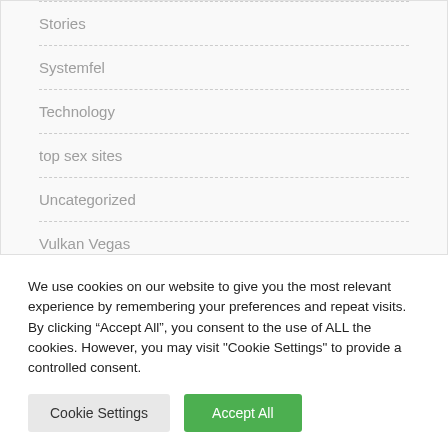Stories
Systemfel
Technology
top sex sites
Uncategorized
Vulkan Vegas
Vulkanbet
We use cookies on our website to give you the most relevant experience by remembering your preferences and repeat visits. By clicking “Accept All”, you consent to the use of ALL the cookies. However, you may visit "Cookie Settings" to provide a controlled consent.
Cookie Settings | Accept All